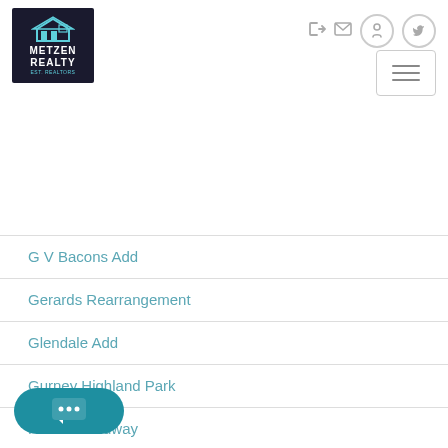[Figure (logo): Metzen Realty logo – dark navy square with house icon and teal accent text]
G V Bacons Add
Gerards Rearrangement
Glendale Add
Gurney Highland Park
Hamline Midway
Hankees Cleveland View
…ghts